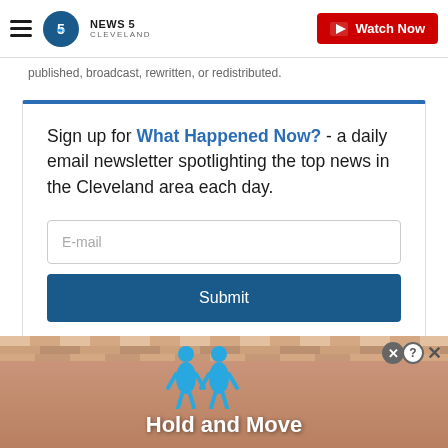NEWS 5 CLEVELAND | Watch Now
published, broadcast, rewritten, or redistributed.
Sign up for What Happened Now? - a daily email newsletter spotlighting the top news in the Cleveland area each day.
[Figure (screenshot): Email newsletter signup form with E-mail input field and Submit button]
[Figure (advertisement): Ad banner with illustrated figures and text 'Hold and Move' with close and help buttons]